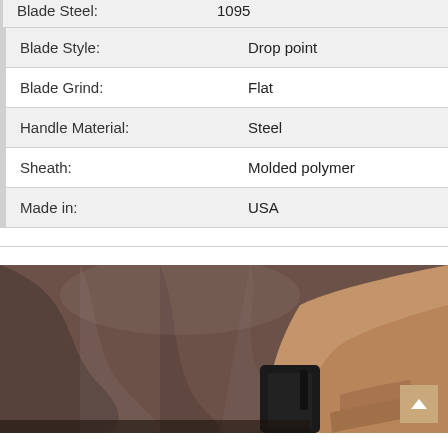| Property | Value |
| --- | --- |
| Blade Steel: | 1095 |
| Blade Style: | Drop point |
| Blade Grind: | Flat |
| Handle Material: | Steel |
| Sheath: | Molded polymer |
| Made in: | USA |
[Figure (photo): Person wearing a brown t-shirt with a black knife in a molded polymer sheath attached to their belt, hand gripping the knife handle]